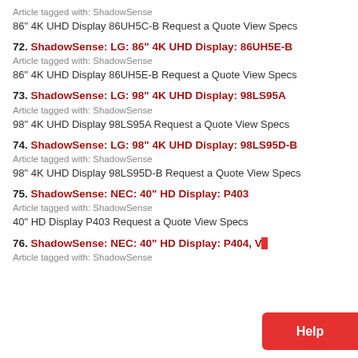Article tagged with: ShadowSense
86" 4K UHD Display 86UH5C-B Request a Quote View Specs
72. ShadowSense: LG: 86" 4K UHD Display: 86UH5E-B
Article tagged with: ShadowSense
86" 4K UHD Display 86UH5E-B Request a Quote View Specs
73. ShadowSense: LG: 98" 4K UHD Display: 98LS95A
Article tagged with: ShadowSense
98" 4K UHD Display 98LS95A Request a Quote View Specs
74. ShadowSense: LG: 98" 4K UHD Display: 98LS95D-B
Article tagged with: ShadowSense
98" 4K UHD Display 98LS95D-B Request a Quote View Specs
75. ShadowSense: NEC: 40" HD Display: P403
Article tagged with: ShadowSense
40" HD Display P403 Request a Quote View Specs
76. ShadowSense: NEC: 40" HD Display: P404, V...
Article tagged with: ShadowSense